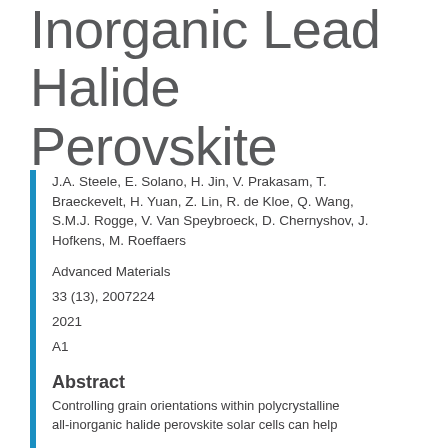Inorganic Lead Halide Perovskite
J.A. Steele, E. Solano, H. Jin, V. Prakasam, T. Braeckevelt, H. Yuan, Z. Lin, R. de Kloe, Q. Wang, S.M.J. Rogge, V. Van Speybroeck, D. Chernyshov, J. Hofkens, M. Roeffaers
Advanced Materials
33 (13), 2007224
2021
A1
Abstract
Controlling grain orientations within polycrystalline all-inorganic halide perovskite solar cells can help